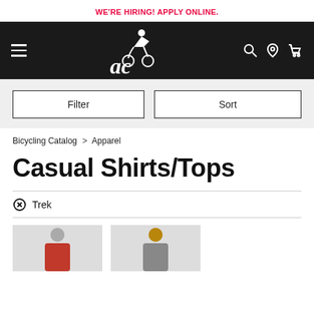WE'RE HIRING! APPLY ONLINE.
[Figure (logo): Adventure Cycling logo: stylized cyclist above 'ac' lettering in white on black background, with hamburger menu, search, location, and cart icons]
Filter   Sort
Bicycling Catalog > Apparel
Casual Shirts/Tops
⊗ Trek
[Figure (photo): Two partial product thumbnails showing models wearing casual shirts/tops]